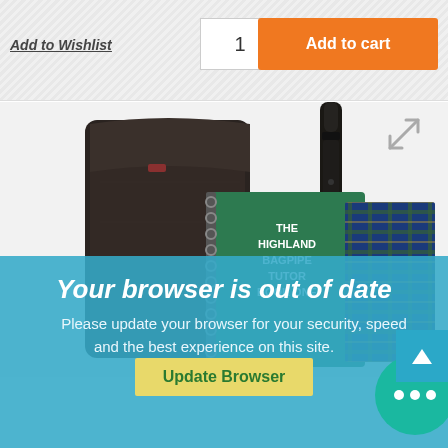Add to Wishlist
1
Add to cart
[Figure (photo): Product photo showing a dark fabric carrying case, a spiral-bound book titled 'The Highland Bagpipe Tutor Book One' with green cover, a bagpipe chanter, and a tartan-covered item in the background]
Your browser is out of date
Please update your browser for your security, speed and the best experience on this site.
Update Browser